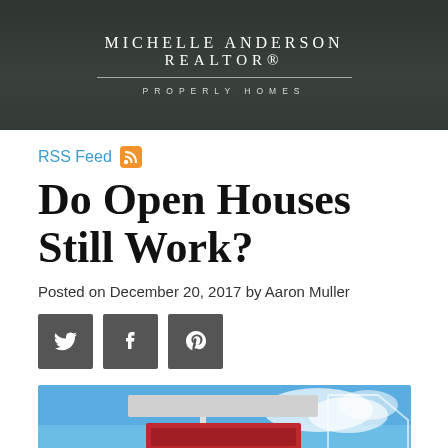MICHELLE ANDERSON REALTOR® PROPERLY HOMES
RSS Feed
Do Open Houses Still Work?
Posted on December 20, 2017 by Aaron Muller
[Figure (illustration): Social media share buttons: Twitter, Facebook, Pinterest]
[Figure (photo): Real estate open house sign against a blue sky background]